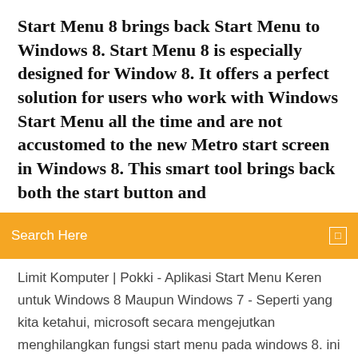Start Menu 8 brings back Start Menu to Windows 8. Start Menu 8 is especially designed for Window 8. It offers a perfect solution for users who work with Windows Start Menu all the time and are not accustomed to the new Metro start screen in Windows 8. This smart tool brings back both the start button and
Search Here
Limit Komputer | Pokki - Aplikasi Start Menu Keren untuk Windows 8 Maupun Windows 7 - Seperti yang kita ketahui, microsoft secara mengejutkan menghilangkan fungsi start menu pada windows 8. ini tentu menjadi sebuah keputusan yang sangat kontroversial, pasalnya banyak para pengguna yang masih menginginkan fungsi start menu kembali di gunakan pada windows 8. lalu pertanyaannya apa alasan Windows 7 Start Menu - Free downloads and ... windows 7 start menu free download - Start Menu 8, Start Menu Cleaner, Start Menu 10, and many more programs How To Get Windows 10 Style Start